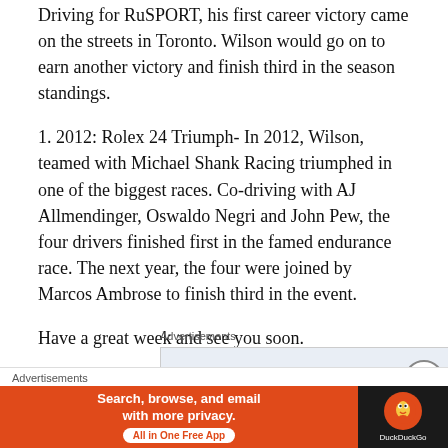Driving for RuSPORT, his first career victory came on the streets in Toronto. Wilson would go on to earn another victory and finish third in the season standings.
1. 2012: Rolex 24 Triumph- In 2012, Wilson, teamed with Michael Shank Racing triumphed in one of the biggest races. Co-driving with AJ Allmendinger, Oswaldo Negri and John Pew, the four drivers finished first in the famed endurance race. The next year, the four were joined by Marcos Ambrose to finish third in the event.
Have a great week and see you soon.
Advertisements
[Figure (screenshot): Gray advertisement placeholder box]
Advertisements
[Figure (screenshot): DuckDuckGo advertisement banner: orange section with text 'Search, browse, and email with more privacy. All in One Free App' and dark section with DuckDuckGo logo]